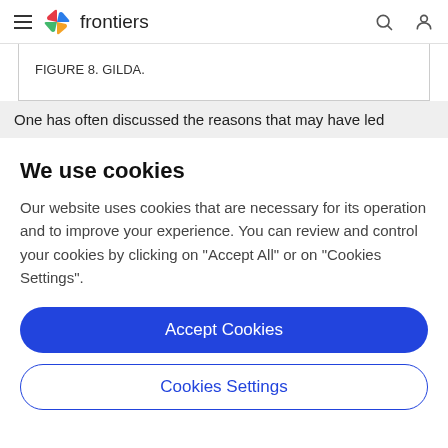frontiers
FIGURE 8. GILDA.
One has often discussed the reasons that may have led
We use cookies
Our website uses cookies that are necessary for its operation and to improve your experience. You can review and control your cookies by clicking on "Accept All" or on "Cookies Settings".
Accept Cookies
Cookies Settings